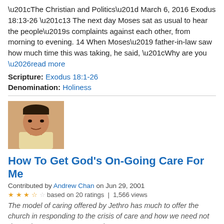“The Christian and Politics” March 6, 2016 Exodus 18:13-26 “13 The next day Moses sat as usual to hear the people’s complaints against each other, from morning to evening. 14 When Moses’ father-in-law saw how much time this was taking, he said, “Why are you …read more
Scripture: Exodus 18:1-26
Denomination: Holiness
[Figure (photo): Portrait photo of a man, likely Asian, wearing a light yellow shirt, smiling slightly, indoor background.]
How To Get God's On-Going Care For Me
Contributed by Andrew Chan on Jun 29, 2001
3.5 stars based on 20 ratings | 1,566 views
The model of caring offered by Jethro has much to offer the church in responding to the crisis of care and how we need not depend on a superstar to get by.
HOW TO GET GOD’S ON-GOING CARE FOR ME Exodus 18:9-27...